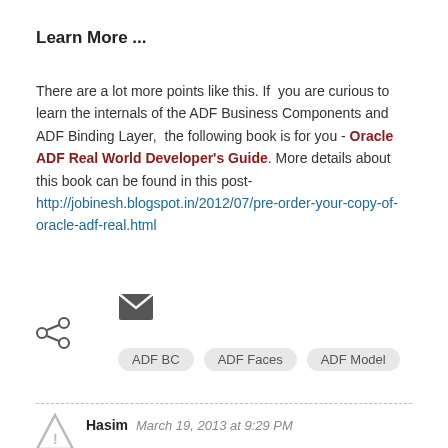Learn More ...
There are a lot more points like this. If  you are curious to learn the internals of the ADF Business Components and ADF Binding Layer,  the following book is for you - Oracle ADF Real World Developer's Guide. More details about this book can be found in this post- http://jobinesh.blogspot.in/2012/07/pre-order-your-copy-of-oracle-adf-real.html
[Figure (illustration): Share icon (less-than style with three circles) and email envelope icon]
ADF BC
ADF Faces
ADF Model
Hasim   March 19, 2013 at 9:29 PM